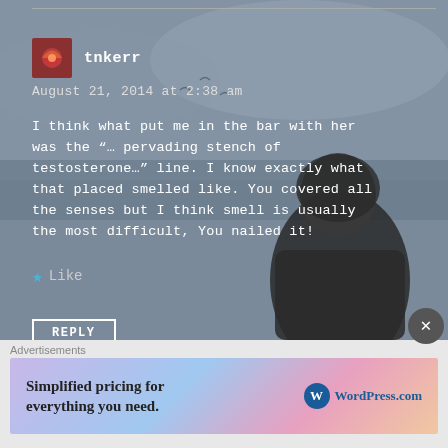[Figure (photo): Dark atmospheric photo of a person in a hooded sweater viewed from behind, against a grey sky and water backdrop]
tnkerr
August 21, 2014 at 2:38 am
I think what put me in the bar with her was the “… pervading stench of testosterone…” line. I know exactly what that placed smelled like. You covered all the senses but I think smell is usually the most difficult, You nailed it!
Like
REPLY
Advertisements
[Figure (screenshot): WordPress.com advertisement banner saying Simplified pricing for everything you need.]